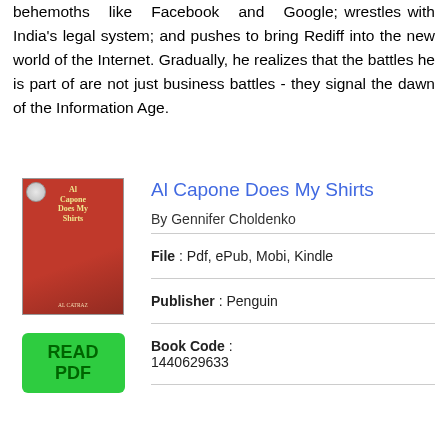behemoths like Facebook and Google; wrestles with India's legal system; and pushes to bring Rediff into the new world of the Internet. Gradually, he realizes that the battles he is part of are not just business battles - they signal the dawn of the Information Age.
Al Capone Does My Shirts
By Gennifer Choldenko
File : Pdf, ePub, Mobi, Kindle
Publisher : Penguin
Book Code : 1440629633